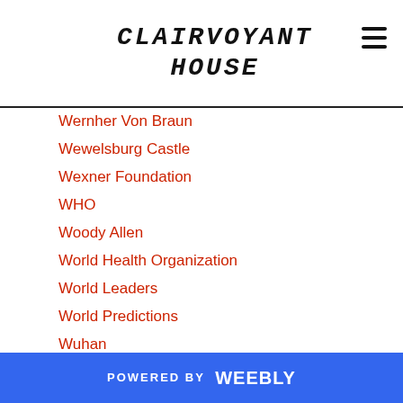CLAIRVOYANT
HOUSE
Wernher Von Braun
Wewelsburg Castle
Wexner Foundation
WHO
Woody Allen
World Health Organization
World Leaders
World Predictions
Wuhan
Xavier Becerra
Xi Jinpin
Xi Jinping
Yahweh
Yang 2020 Campaign
POWERED BY weebly